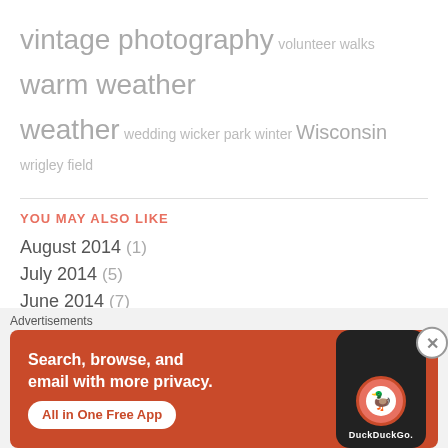vintage photography volunteer walks warm weather weather wedding wicker park winter Wisconsin wrigley field
YOU MAY ALSO LIKE
August 2014 (1)
July 2014 (5)
June 2014 (7)
May 2014 (7)
April 2014 (11)
March 2014 (13)
February 2014 (5)
[Figure (screenshot): DuckDuckGo advertisement: Search, browse, and email with more privacy. All in One Free App]